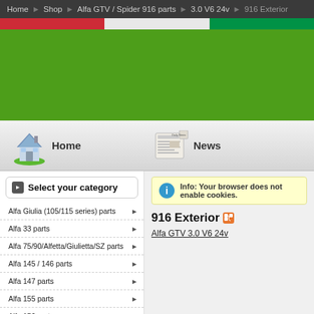Home › Shop › Alfa GTV / Spider 916 parts › 3.0 V6 24v › 916 Exterior
[Figure (illustration): Italian flag color stripe banner (red, white, green)]
[Figure (illustration): Green website header banner area]
[Figure (illustration): Navigation bar with house icon labeled Home and newspaper icon labeled News]
Select your category
Alfa Giulia (105/115 series) parts
Alfa 33 parts
Alfa 75/90/Alfetta/Giulietta/SZ parts
Alfa 145 / 146 parts
Alfa 147 parts
Alfa 155 parts
Alfa 156 parts
Info: Your browser does not enable cookies.
916 Exterior
Alfa GTV 3.0 V6 24v